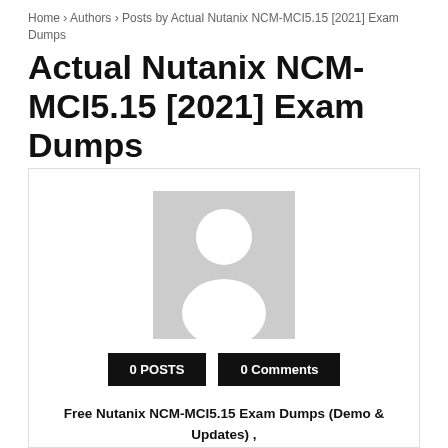Home › Authors › Posts by Actual Nutanix NCM-MCI5.15 [2021] Exam Dumps
Actual Nutanix NCM-MCI5.15 [2021] Exam Dumps
[Figure (illustration): Generic user avatar placeholder image — grey square with white silhouette of a person (head and shoulders)]
0 POSTS   0 Comments
Free Nutanix NCM-MCI5.15 Exam Dumps (Demo & Updates) , Real NCM-MCI5.15 exam Questions, Get Nutanix Certified Master Certified with 100% Success Guaranteed.
How to Pass the NCM-MCI5.15 Exam in Short Time with NCM-MCI5.15 Exam Dumps?